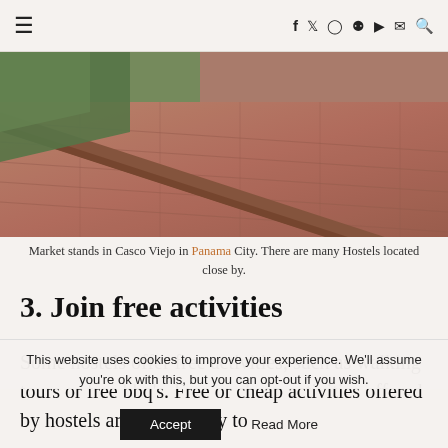☰  f  𝕏  ⊙  ⊕  ▶  ✉  🔍
[Figure (photo): Aerial/low-angle view of red brick pavement market stands in Casco Viejo, Panama City, with a metal ramp or rail visible.]
Market stands in Casco Viejo in Panama City. There are many Hostels located close by.
3. Join free activities
Some hostels offer free activities, such as walking tours or free bbq's. Free or cheap activities offered by hostels are a great way to
This website uses cookies to improve your experience. We'll assume you're ok with this, but you can opt-out if you wish.
Accept   Read More